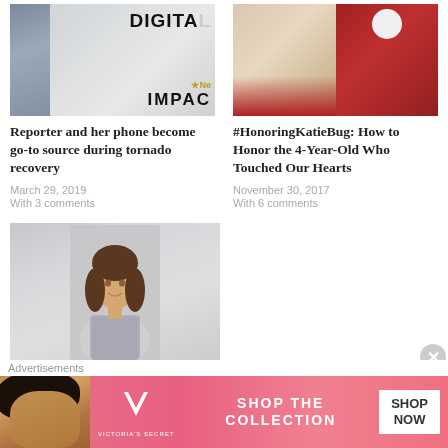[Figure (photo): Thumbnail image with 'DIGITAL' and 'IMPACT' text overlay on a media/magazine style background]
Reporter and her phone become go-to source during tornado recovery
March 29, 2019
With 3 comments
[Figure (photo): Two photos side by side: a young blonde girl with Santa Claus on the left, and a man dressed as Santa Claus on the right]
#HonoringKatieBug: How to Honor the 4-Year-Old Who Touched Our Hearts
November 30, 2017
With 6 comments
[Figure (photo): Portrait photo of a young woman with long brown hair wearing a patterned top, smiling]
Attorney Turned Reporter Proves Everyone Wrong
January 22, 2019
Advertisements
[Figure (photo): Victoria's Secret advertisement banner: 'SHOP THE COLLECTION' with SHOP NOW button, pink background, woman with curly hair on left]